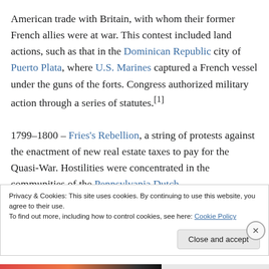American trade with Britain, with whom their former French allies were at war. This contest included land actions, such as that in the Dominican Republic city of Puerto Plata, where U.S. Marines captured a French vessel under the guns of the forts. Congress authorized military action through a series of statutes.[1]
1799–1800 – Fries's Rebellion, a string of protests against the enactment of new real estate taxes to pay for the Quasi-War. Hostilities were concentrated in the communities of the Pennsylvania Dutch.
Privacy & Cookies: This site uses cookies. By continuing to use this website, you agree to their use. To find out more, including how to control cookies, see here: Cookie Policy